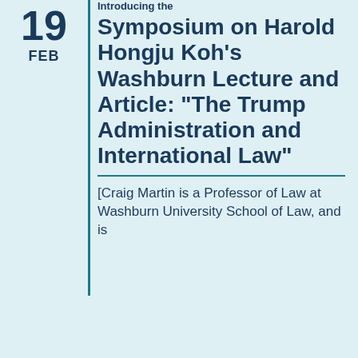Introducing the Symposium on Harold Hongju Koh’s Washburn Lecture and Article: “The Trump Administration and International Law”
[Craig Martin is a Professor of Law at Washburn University School of Law, and is